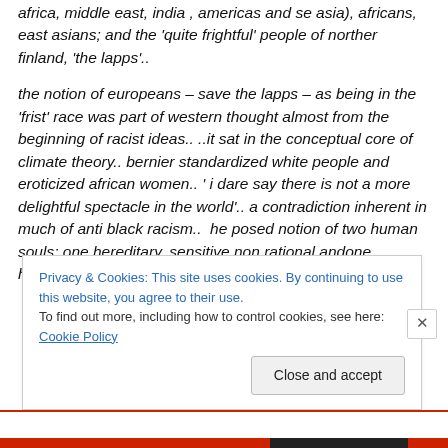africa, middle east, india , americas and se asia), africans, east asians; and the 'quite frightful' people of norther finland, 'the lapps'..
the notion of europeans – save the lapps – as being in the 'frist' race was part of western thought almost from the beginning of racist ideas.. ..it sat in the conceptual core of climate theory.. bernier standardized white people and eroticized african women.. ' i dare say there is not a more delightful spectacle in the world'.. a contradiction inherent in much of anti black racism..  he posed notion of two human souls; one hereditary, sensitive non rational and
Privacy & Cookies: This site uses cookies. By continuing to use this website, you agree to their use.
To find out more, including how to control cookies, see here: Cookie Policy
Close and accept